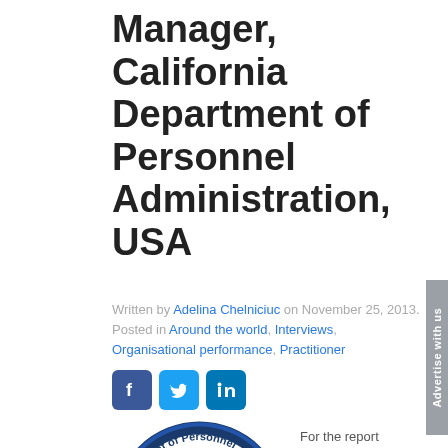Manager, California Department of Personnel Administration, USA
Written by Adelina Chelniciuc on November 25, 2013. Posted in Around the world, Interviews, Organisational performance, Practitioner
[Figure (logo): California Department of Personnel Administration (DPA) circular logo featuring a triangle with Excellence and Leadership text, blue border]
For the report Performance